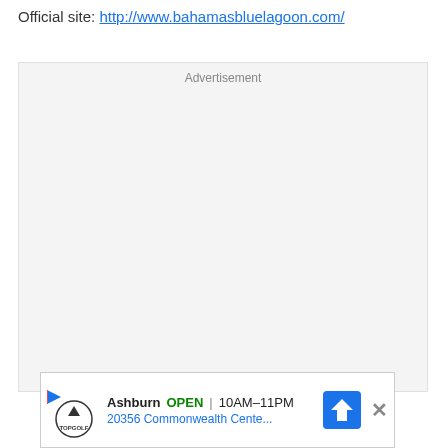Official site: http://www.bahamasbluelagoon.com/
[Figure (other): Advertisement placeholder box with light gray background and 'Advertisement' label at top center]
[Figure (other): Bottom ad banner showing Topgolf Ashburn location: OPEN 10AM-11PM, 20356 Commonwealth Cente..., with navigation arrow icon and close button]